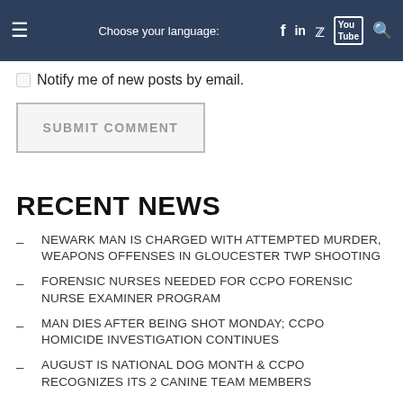Choose your language:
Notify me of new posts by email.
SUBMIT COMMENT
RECENT NEWS
NEWARK MAN IS CHARGED WITH ATTEMPTED MURDER, WEAPONS OFFENSES IN GLOUCESTER TWP SHOOTING
FORENSIC NURSES NEEDED FOR CCPO FORENSIC NURSE EXAMINER PROGRAM
MAN DIES AFTER BEING SHOT MONDAY; CCPO HOMICIDE INVESTIGATION CONTINUES
AUGUST IS NATIONAL DOG MONTH & CCPO RECOGNIZES ITS 2 CANINE TEAM MEMBERS
CHERRY HILL MAN CHARGED WITH AGGRAVATED MANSLAUGHTER IN DEATH OF 3-YEAR-OLD GIRL